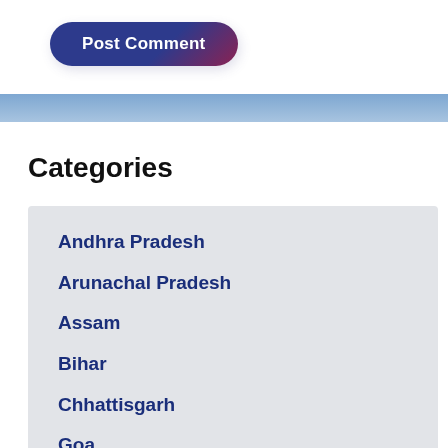[Figure (screenshot): A 'Post Comment' button with dark blue-to-maroon gradient background and white text, rounded pill shape]
Andhra Pradesh
Arunachal Pradesh
Assam
Bihar
Chhattisgarh
Goa
Gujarat